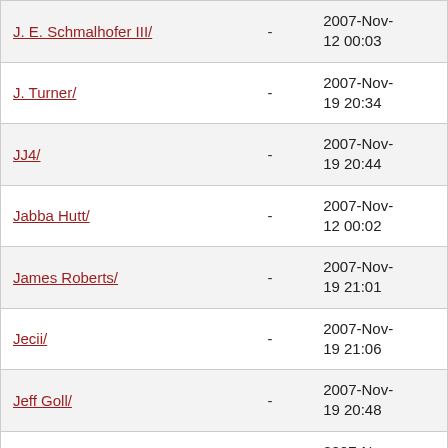| Name |  | Date |
| --- | --- | --- |
| J. E. Schmalhofer III/ | - | 2007-Nov-12 00:03 |
| J. Turner/ | - | 2007-Nov-19 20:34 |
| JJ4/ | - | 2007-Nov-19 20:44 |
| Jabba Hutt/ | - | 2007-Nov-12 00:02 |
| James Roberts/ | - | 2007-Nov-19 21:01 |
| Jecii/ | - | 2007-Nov-19 21:06 |
| Jeff Goll/ | - | 2007-Nov-19 20:48 |
| Jeffery/ | - | 2007-Nov-12 00:02 |
| Jere D. Weaver/ | - | 2007-Nov-12 00:03 |
| Jim/ | - | 2007-Nov-19 20:44 |
| Jim Glendinning/ | - | 2007-Nov-19 20:38 |